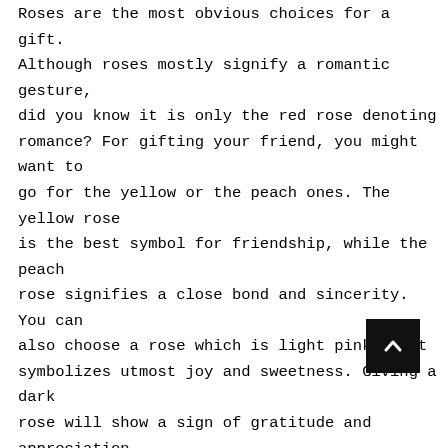Roses are the most obvious choices for a gift. Although roses mostly signify a romantic gesture, did you know it is only the red rose denoting romance? For gifting your friend, you might want to go for the yellow or the peach ones. The yellow rose is the best symbol for friendship, while the peach rose signifies a close bond and sincerity. You can also choose a rose which is light pink, that symbolizes utmost joy and sweetness. Giving a dark rose will show a sign of gratitude and appreciation to your friend.
Sunflowers:
One of the cool flowers that you can keep on your gifting list is sunflowers. Sunflowers sh...